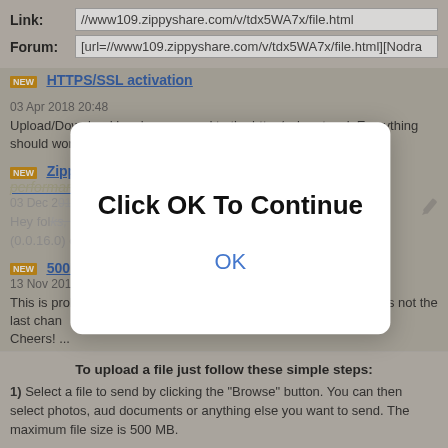Link: //www109.zippyshare.com/v/tdx5WA7x/file.html
Forum: [url=//www109.zippyshare.com/v/tdx5WA7x/file.html][Nodra
HTTPS/SSL activation
03 Apr 2018 20:48
Upload/Download has been moved to the https/ssl protocol. Everything should wor
Zippyuploader update, Docs and Videos encoding performance boost
03 Dec 2017 21:1
Hey folks, <strong>A quick update,</strong> Today a new version (0.0.16.0) of th something
[Figure (screenshot): Modal dialog with text 'Click OK To Continue' and an OK button]
500MB: We just increased the file size limit
13 Nov 2017 00:08
This is probably a long-awaited update, but I assure you that this is not the last chan Cheers! ...
To upload a file just follow these simple steps:
1) Select a file to send by clicking the "Browse" button. You can then select photos, aud documents or anything else you want to send. The maximum file size is 500 MB.